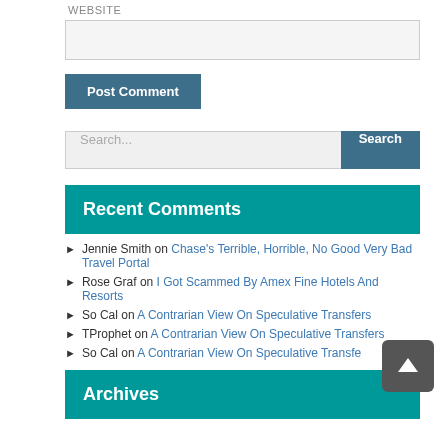WEBSITE
[input field]
Post Comment
Search...
Recent Comments
Jennie Smith on Chase's Terrible, Horrible, No Good Very Bad Travel Portal
Rose Graf on I Got Scammed By Amex Fine Hotels And Resorts
So Cal on A Contrarian View On Speculative Transfers
TProphet on A Contrarian View On Speculative Transfers
So Cal on A Contrarian View On Speculative Transfers
Archives